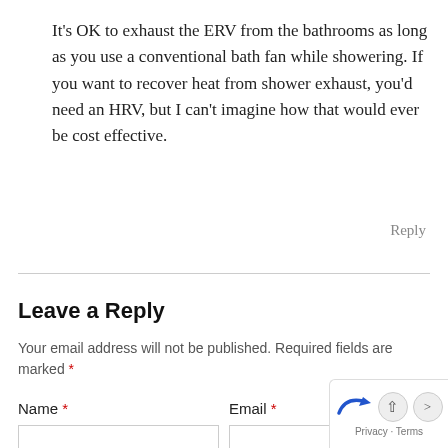It's OK to exhaust the ERV from the bathrooms as long as you use a conventional bath fan while showering. If you want to recover heat from shower exhaust, you'd need an HRV, but I can't imagine how that would ever be cost effective.
Reply
Leave a Reply
Your email address will not be published. Required fields are marked *
Name * Email *